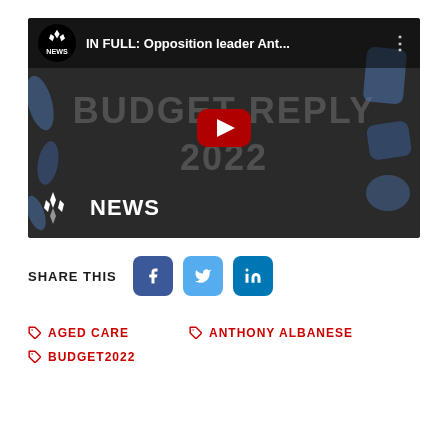[Figure (screenshot): YouTube video thumbnail showing ABC News video titled 'IN FULL: Opposition leader Ant...' with Budget Reply 2022 text overlay and YouTube play button, ABC News logo at bottom left]
SHARE THIS
[Figure (infographic): Social share buttons: Facebook (blue square with f), Twitter (light blue square with bird icon), LinkedIn (blue square with in)]
AGED CARE
ANTHONY ALBANESE
BUDGET2022